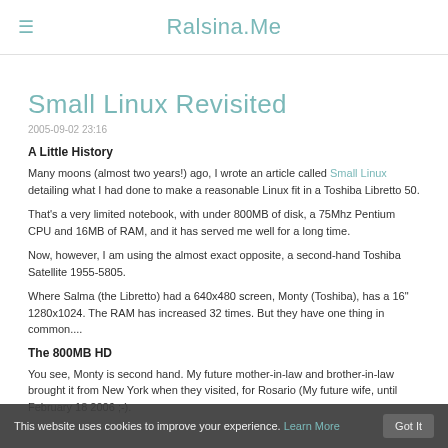Ralsina.Me
Small Linux Revisited
2005-09-02 23:16
A Little History
Many moons (almost two years!) ago, I wrote an article called Small Linux detailing what I had done to make a reasonable Linux fit in a Toshiba Libretto 50.
That's a very limited notebook, with under 800MB of disk, a 75Mhz Pentium CPU and 16MB of RAM, and it has served me well for a long time.
Now, however, I am using the almost exact opposite, a second-hand Toshiba Satellite 1955-5805.
Where Salma (the Libretto) had a 640x480 screen, Monty (Toshiba), has a 16" 1280x1024. The RAM has increased 32 times. But they have one thing in common....
The 800MB HD
You see, Monty is second hand. My future mother-in-law and brother-in-law brought it from New York when they visited, for Rosario (My future wife, until February 18 2006 ;-).
This website uses cookies to improve your experience. Learn More Got It